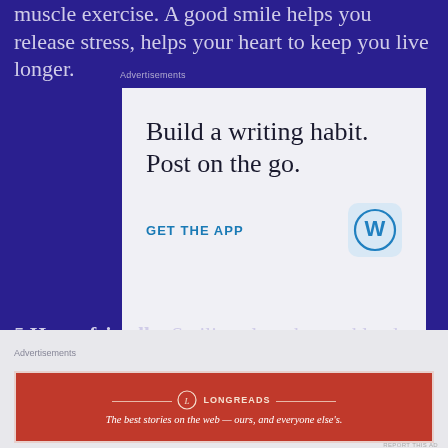muscle exercise. A good smile helps you release stress, helps your heart to keep you live longer.
Advertisements
[Figure (screenshot): WordPress mobile app advertisement with text 'Build a writing habit. Post on the go.' and 'GET THE APP' call to action with WordPress logo icon]
5.Heart-friendly: Smiling slow the workload of...
Advertisements
[Figure (screenshot): Longreads advertisement with tagline 'The best stories on the web — ours, and everyone else's.']